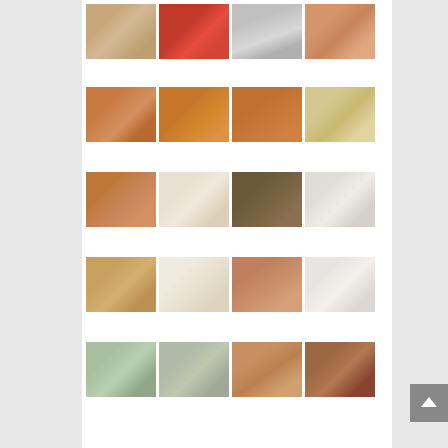[Figure (photo): A 5x4 grid of 20 step-by-step food preparation photos showing the process of making a carrot cake. Row 1: ingredients, batter mixing with cream, batter in bowl, batter in pan. Row 2: batter in pan, baked cake top view, baked cake top view 2, cream cheese frosting being mixed. Row 3: frosting ingredients, powdered sugar cloud, mixing frosting, finished frosting in bowl. Row 4: cake on board, cake with frosting on top, cake being sliced, frosted cake top view. Row 5: cake being cut, cake being sliced, cake cross-section showing layers, finished carrot cake slice.]